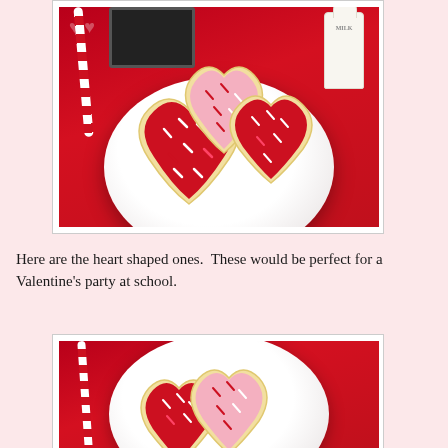[Figure (photo): Heart-shaped rice crispy treats decorated with red and pink icing and red/white sprinkles arranged on a white plate on a red tablecloth. A chalkboard sign and milk bottle visible in background.]
Here are the heart shaped ones.  These would be perfect for a Valentine's party at school.
[Figure (photo): Closer view of heart-shaped rice crispy treats with red and pink icing and sprinkles on a white plate on a red tablecloth. A striped paper straw visible on the left.]